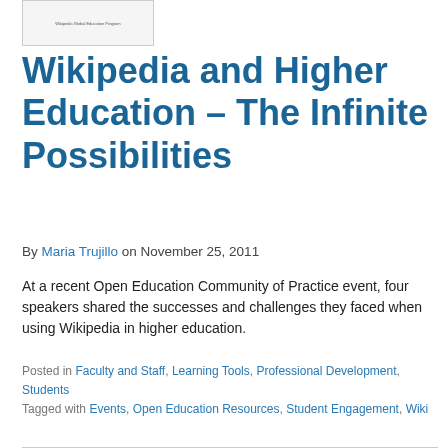[Figure (screenshot): Small thumbnail image showing Wikipedia Global Education Program header]
Wikipedia and Higher Education – The Infinite Possibilities
By Maria Trujillo on November 25, 2011
At a recent Open Education Community of Practice event, four speakers shared the successes and challenges they faced when using Wikipedia in higher education.
Posted in Faculty and Staff, Learning Tools, Professional Development, Students
Tagged with Events, Open Education Resources, Student Engagement, Wiki